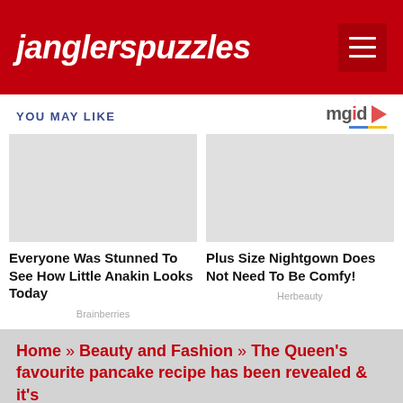janglerspuzzles
YOU MAY LIKE
[Figure (logo): mgid logo with play button icon]
[Figure (photo): Article image placeholder for 'Everyone Was Stunned To See How Little Anakin Looks Today']
Everyone Was Stunned To See How Little Anakin Looks Today
Brainberries
[Figure (photo): Article image placeholder for 'Plus Size Nightgown Does Not Need To Be Comfy!']
Plus Size Nightgown Does Not Need To Be Comfy!
Herbeauty
Home » Beauty and Fashion » The Queen's favourite pancake recipe has been revealed & it's surprisingly easy